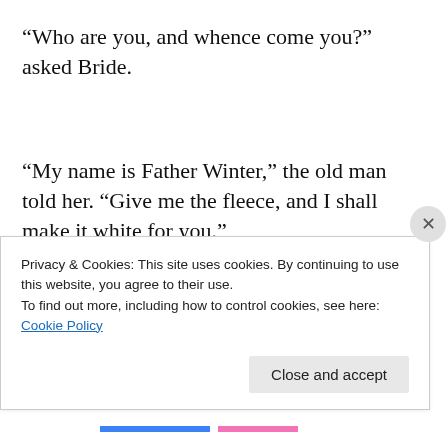“Who are you, and whence come you?” asked Bride.
“My name is Father Winter,” the old man told her. “Give me the fleece, and I shall make it white for you.”
Bride gave Father Winter the brown fleece, and when he had shaken it three times it turned white as snow.
The heart of Bride was immediately filled with joy, and she
Privacy & Cookies: This site uses cookies. By continuing to use this website, you agree to their use.
To find out more, including how to control cookies, see here: Cookie Policy
Close and accept